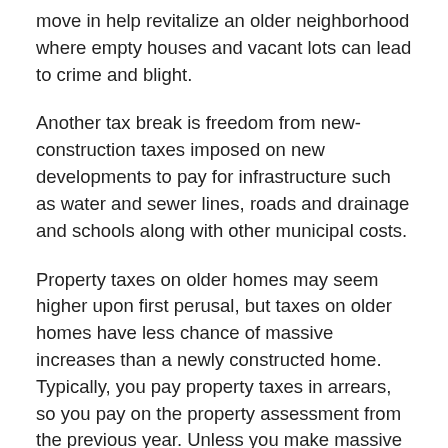move in help revitalize an older neighborhood where empty houses and vacant lots can lead to crime and blight.
Another tax break is freedom from new-construction taxes imposed on new developments to pay for infrastructure such as water and sewer lines, roads and drainage and schools along with other municipal costs.
Property taxes on older homes may seem higher upon first perusal, but taxes on older homes have less chance of massive increases than a newly constructed home. Typically, you pay property taxes in arrears, so you pay on the property assessment from the previous year. Unless you make massive changes to the property such as adding an addition or a second story, your tax rate should remain relatively stable year to year, only rising with a new levy. In new construction, the first year's taxes may